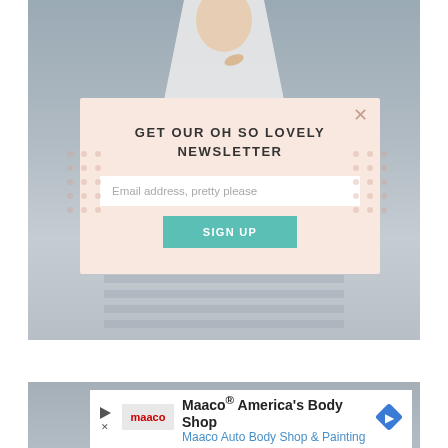[Figure (photo): Photo of a person in a white dress on a wooden deck, with a newsletter signup modal overlay. The modal has a pink/peach background with decorative dot patterns on the sides.]
GET OUR OH SO LOVELY NEWSLETTER
Email address, pretty please
SIGN UP
[Figure (photo): Partial view of a second photo below, mostly covered by a Maaco advertisement banner.]
Maaco® America's Body Shop
Maaco Auto Body Shop & Painting